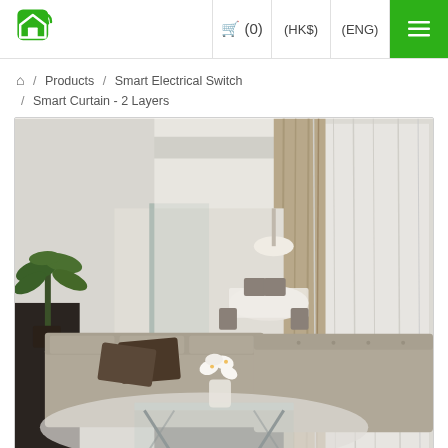Logo / (0) / (HK$) / (ENG) / Menu
🏠 / Products / Smart Electrical Switch / Smart Curtain - 2 Layers
[Figure (photo): Interior living room photo showing a modern apartment with two-layer curtains (sheer white and beige/tan drapes) on large windows, a taupe sofa set, glass coffee table, and indoor plant.]